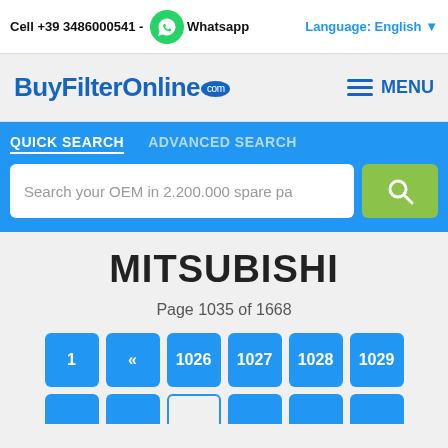Cell +39 3486000541 - Whatsapp | Language: English
BuyFilterOnline.com
QUICK SEARCH   ADVANCED SEARCH
Search your OEM in 2.200.000 spare pa
MITSUBISHI
Page 1035 of 1668
1  «  1026  1027  1028  1029